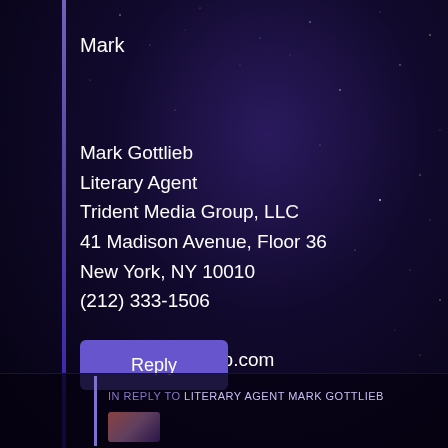Mark
Mark Gottlieb
Literary Agent
Trident Media Group, LLC
41 Madison Avenue, Floor 36
New York, NY 10010
(212) 333-1506
tridentmediagroup.com
Reply
IN REPLY TO LITERARY AGENT MARK GOTTLIEB